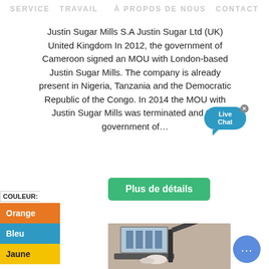SERVICE   TRAVAIL     À PROPOS DE NOUS   CONTACT
Justin Sugar Mills S.A Justin Sugar Ltd (UK) United Kingdom In 2012, the government of Cameroon signed an MOU with London-based Justin Sugar Mills. The company is already present in Nigeria, Tanzania and the Democratic Republic of the Congo. In 2014 the MOU with Justin Sugar Mills was terminated and the government of...
Plus de détails
COULEUR:
Orange
Bleu
Jaune
[Figure (photo): Industrial sugar mill machinery processing sugar cane]
[Figure (illustration): Live Chat speech bubble widget with close button]